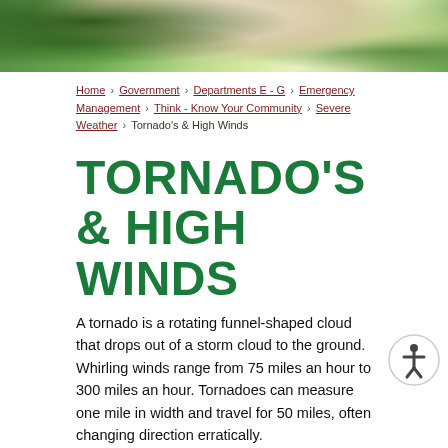[Figure (photo): Aerial/outdoor photo showing green trees and a road, used as page header banner]
Home › Government › Departments E - G › Emergency Management › Think - Know Your Community › Severe Weather › Tornado's & High Winds
TORNADO'S & HIGH WINDS
A tornado is a rotating funnel-shaped cloud that drops out of a storm cloud to the ground. Whirling winds range from 75 miles an hour to 300 miles an hour. Tornadoes can measure one mile in width and travel for 50 miles, often changing direction erratically.
AVERAGE TORNADO OCCURRENCE